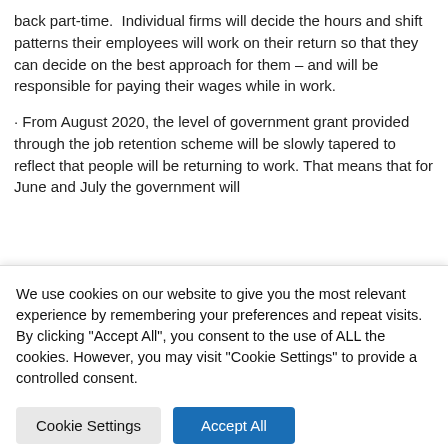back part-time.  Individual firms will decide the hours and shift patterns their employees will work on their return so that they can decide on the best approach for them – and will be responsible for paying their wages while in work.
· From August 2020, the level of government grant provided through the job retention scheme will be slowly tapered to reflect that people will be returning to work. That means that for June and July the government will
We use cookies on our website to give you the most relevant experience by remembering your preferences and repeat visits. By clicking "Accept All", you consent to the use of ALL the cookies. However, you may visit "Cookie Settings" to provide a controlled consent.